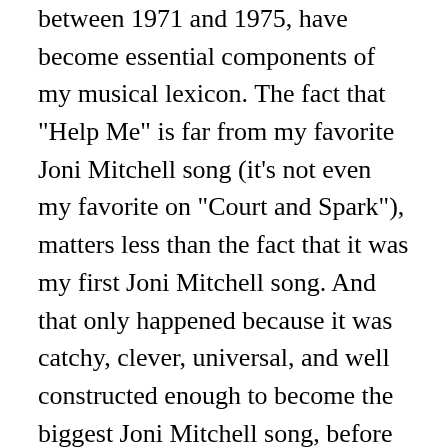between 1971 and 1975, have become essential components of my musical lexicon. The fact that "Help Me" is far from my favorite Joni Mitchell song (it's not even my favorite on "Court and Spark"), matters less than the fact that it was my first Joni Mitchell song. And that only happened because it was catchy, clever, universal, and well constructed enough to become the biggest Joni Mitchell song, before or since, on the radio, reaching number seven on Billboard's Pop Singles chart, and number one on its Adult Contemporary Singles chart. In the years that have elapsed since that Laurel Canyon afternoon, I've gone back and forth many times about the relative value of singles charts in determining a song's worth. I intend to go back and forth many more times. One thing that